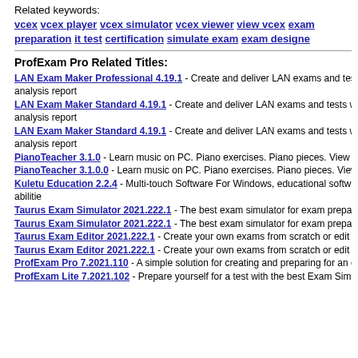Related keywords: vcex vcex player vcex simulator vcex viewer view vcex exam preparation it test certification simulate exam exam designe
ProfExam Pro Related Titles:
LAN Exam Maker Professional 4.19.1 - Create and deliver LAN exams and tests with analysis report
LAN Exam Maker Standard 4.19.1 - Create and deliver LAN exams and tests with analysis report
LAN Exam Maker Standard 4.19.1 - Create and deliver LAN exams and tests with analysis report
PianoTeacher 3.1.0 - Learn music on PC. Piano exercises. Piano pieces. View s
PianoTeacher 3.1.0.0 - Learn music on PC. Piano exercises. Piano pieces. View
Kuletu Education 2.2.4 - Multi-touch Software For Windows, educational software abilitie
Taurus Exam Simulator 2021.222.1 - The best exam simulator for exam prepara
Taurus Exam Simulator 2021.222.1 - The best exam simulator for exam prepara
Taurus Exam Editor 2021.222.1 - Create your own exams from scratch or edit e
Taurus Exam Editor 2021.222.1 - Create your own exams from scratch or edit e
ProfExam Pro 7.2021.110 - A simple solution for creating and preparing for an ex
ProfExam Lite 7.2021.102 - Prepare yourself for a test with the best Exam Simul